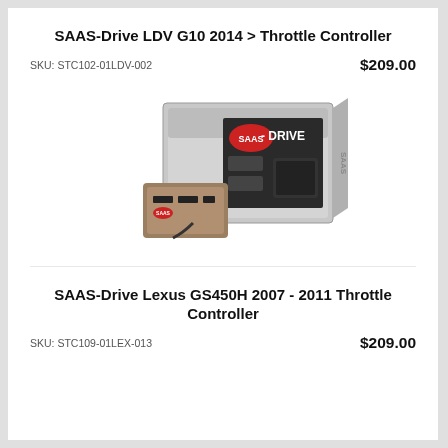SAAS-Drive LDV G10 2014 > Throttle Controller
SKU: STC102-01LDV-002    $209.00
[Figure (photo): SAAS-Drive throttle controller product photo showing a small electronic device in front of its packaging box. The box displays the SAAS-Drive logo and product branding. A throttle controller unit sits in front.]
SAAS-Drive Lexus GS450H 2007 - 2011 Throttle Controller
SKU: STC109-01LEX-013    $209.00